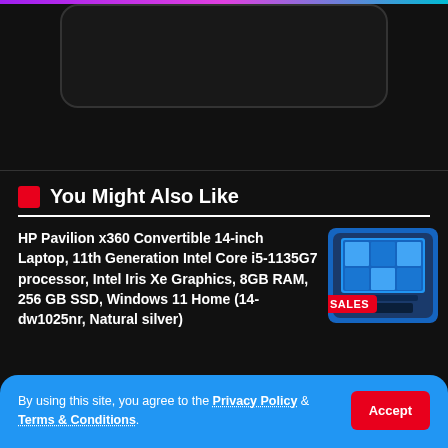[Figure (screenshot): Top portion of a phone UI card on dark background]
You Might Also Like
HP Pavilion x360 Convertible 14-inch Laptop, 11th Generation Intel Core i5-1135G7 processor, Intel Iris Xe Graphics, 8GB RAM, 256 GB SSD, Windows 11 Home (14-dw1025nr, Natural silver)
[Figure (photo): HP Pavilion x360 laptop image with SALES badge]
1 Min Read
Xiaomi Redmi 9C Smartphone, 3 GB + 64 GB, 6.53"HD + Dot Drop Display
[Figure (photo): Xiaomi Redmi 9C smartphone image]
By using this site, you agree to the Privacy Policy & Terms & Conditions.